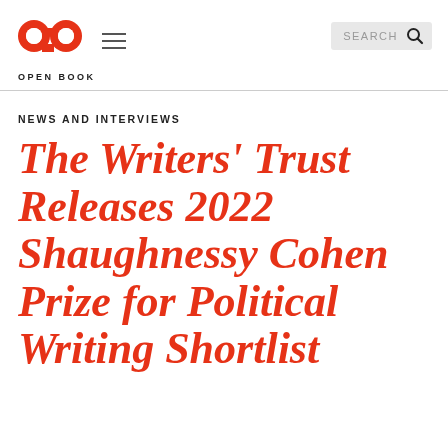OPEN BOOK
NEWS AND INTERVIEWS
The Writers' Trust Releases 2022 Shaughnessy Cohen Prize for Political Writing Shortlist